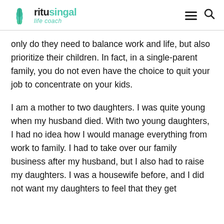ritusingal life coach
only do they need to balance work and life, but also prioritize their children. In fact, in a single-parent family, you do not even have the choice to quit your job to concentrate on your kids.
I am a mother to two daughters. I was quite young when my husband died. With two young daughters, I had no idea how I would manage everything from work to family. I had to take over our family business after my husband, but I also had to raise my daughters. I was a housewife before, and I did not want my daughters to feel that they get